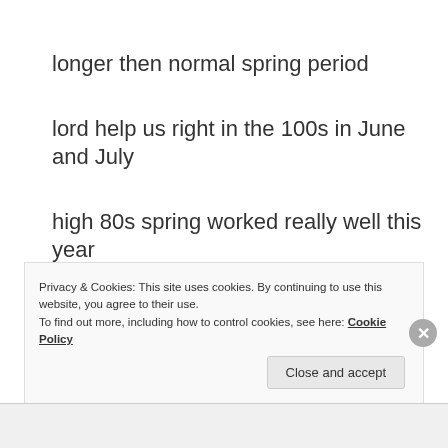longer then normal spring period
lord help us right in the 100s in June and July
high 80s spring worked really well this year
southern states
Privacy & Cookies: This site uses cookies. By continuing to use this website, you agree to their use. To find out more, including how to control cookies, see here: Cookie Policy
Close and accept